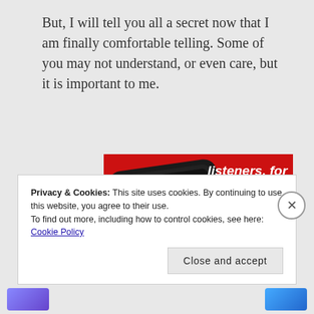But, I will tell you all a secret now that I am finally comfortable telling. Some of you may not understand, or even care, but it is important to me.
[Figure (photo): Red advertisement banner for a podcast app showing a smartphone with 'Distributed' podcast cover and text 'listeners, for listeners.' with a 'Download now' button]
Privacy & Cookies: This site uses cookies. By continuing to use this website, you agree to their use.
To find out more, including how to control cookies, see here: Cookie Policy
Close and accept